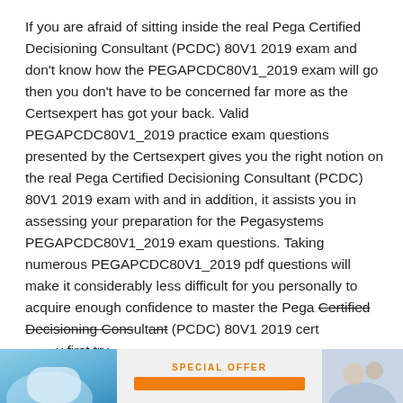If you are afraid of sitting inside the real Pega Certified Decisioning Consultant (PCDC) 80V1 2019 exam and don't know how the PEGAPCDC80V1_2019 exam will go then you don't have to be concerned far more as the Certsexpert has got your back. Valid PEGAPCDC80V1_2019 practice exam questions presented by the Certsexpert gives you the right notion on the real Pega Certified Decisioning Consultant (PCDC) 80V1 2019 exam with and in addition, it assists you in assessing your preparation for the Pegasystems PEGAPCDC80V1_2019 exam questions. Taking numerous PEGAPCDC80V1_2019 pdf questions will make it considerably less difficult for you personally to acquire enough confidence to master the Pega Certified Decisioning Consultant (PCDC) 80V1 2019 cert[ification exam in your] first try.
[Figure (screenshot): Social share bar overlay showing Facebook, Twitter, WhatsApp icons and a heart/favorite icon with a divider]
[Figure (infographic): Bottom banner showing a special offer with orange bar, blue left section with hand image, and right section with people image]